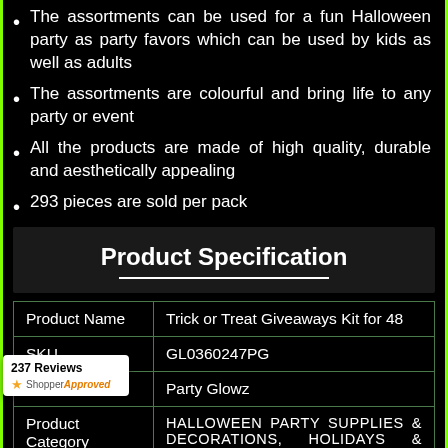The assortments can be used for a fun Halloween party as party favors which can be used by kids as well as adults
The assortments are colourful and bring life to any party or event
All the products are made of high quality, durable and aesthetically appealing
293 pieces are sold per pack
Product Specification
|  |  |
| --- | --- |
| Product Name | Trick or Treat Giveaways Kit for 48 |
| SKU | GL0360247PG |
| Brand | Party Glowz |
| Product Category | HALLOWEEN PARTY SUPPLIES & DECORATIONS, HOLIDAYS & EVENTS |